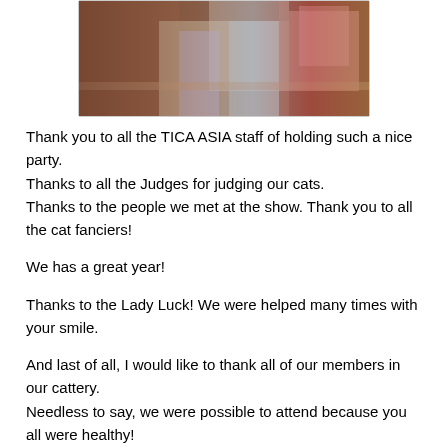[Figure (photo): Photo of people at a TICA ASIA event, with flowers and bags visible in the background]
Thank you to all the TICA ASIA staff of holding such a nice party.
Thanks to all the Judges for judging our cats.
Thanks to the people we met at the show. Thank you to all the cat fanciers!
We has a great year!
Thanks to the Lady Luck! We were helped many times with your smile.
And last of all, I would like to thank all of our members in our cattery.
Needless to say, we were possible to attend because you all were healthy!
Love you all!